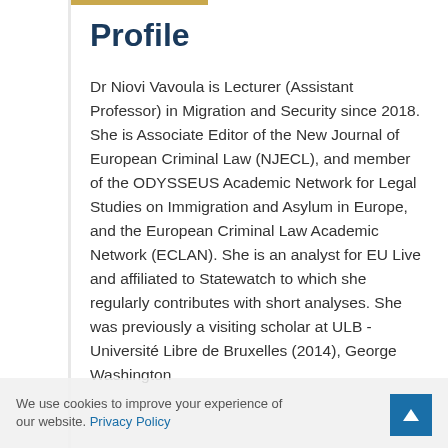Profile
Dr Niovi Vavoula is Lecturer (Assistant Professor) in Migration and Security since 2018. She is Associate Editor of the New Journal of European Criminal Law (NJECL), and member of the ODYSSEUS Academic Network for Legal Studies on Immigration and Asylum in Europe, and the European Criminal Law Academic Network (ECLAN). She is an analyst for EU Live and affiliated to Statewatch to which she regularly contributes with short analyses. She was previously a visiting scholar at ULB - Université Libre de Bruxelles (2014), George Washington
We use cookies to improve your experience of our website. Privacy Policy